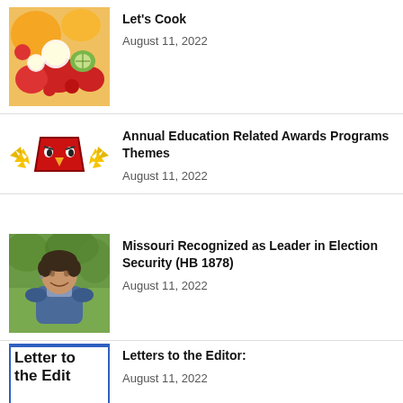[Figure (photo): Fruit salad with strawberries, banana slices, and other colorful fruits]
Let's Cook
August 11, 2022
[Figure (logo): Angry Birds style logo with red bird and yellow stars/wings]
Annual Education Related Awards Programs Themes
August 11, 2022
[Figure (photo): Woman with short dark hair wearing denim jacket, smiling, outdoors]
Missouri Recognized as Leader in Election Security (HB 1878)
August 11, 2022
[Figure (other): Letter to the Editor graphic with blue border text]
Letters to the Editor:
August 11, 2022